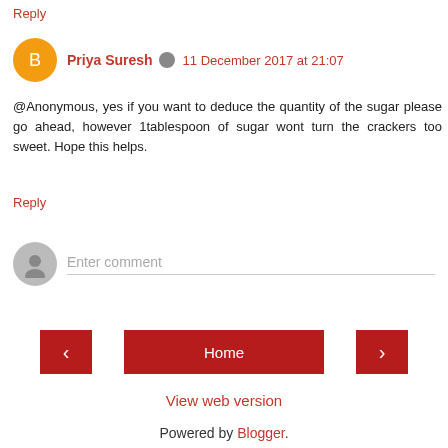Reply
Priya Suresh  11 December 2017 at 21:07
@Anonymous, yes if you want to deduce the quantity of the sugar please go ahead, however 1tablespoon of sugar wont turn the crackers too sweet. Hope this helps.
Reply
Enter comment
Home
View web version
Powered by Blogger.